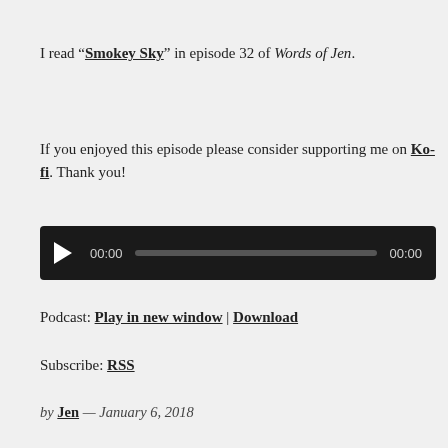I read “Smokey Sky” in episode 32 of Words of Jen.
If you enjoyed this episode please consider supporting me on Ko-fi. Thank you!
[Figure (other): Audio player widget with play button, 00:00 start time, progress bar, and 00:00 end time on a dark background.]
Podcast: Play in new window | Download
Subscribe: RSS
by Jen — January 6, 2018